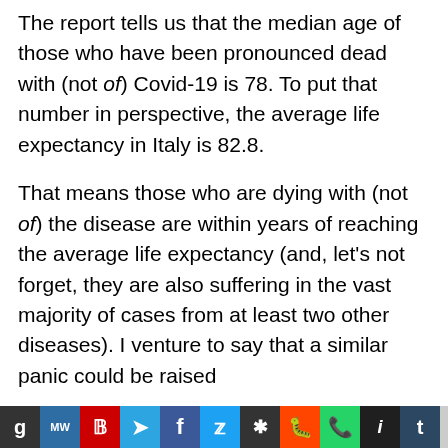The report tells us that the median age of those who have been pronounced dead with (not of) Covid-19 is 78. To put that number in perspective, the average life expectancy in Italy is 82.8.
That means those who are dying with (not of) the disease are within years of reaching the average life expectancy (and, let's not forget, they are also suffering in the vast majority of cases from at least two other diseases). I venture to say that a similar panic could be raised
[Figure (infographic): Social media sharing toolbar at the bottom with buttons for: g (GetPocket/grey), MW (MeWe/blue), P (Parler/red), Telegram (blue arrow), Facebook (blue f), Twitter (blue bird), asterisk/MeWe (dark), Reddit (orange), WhatsApp (green), instapaper (dark i), Tumblr (navy t)]